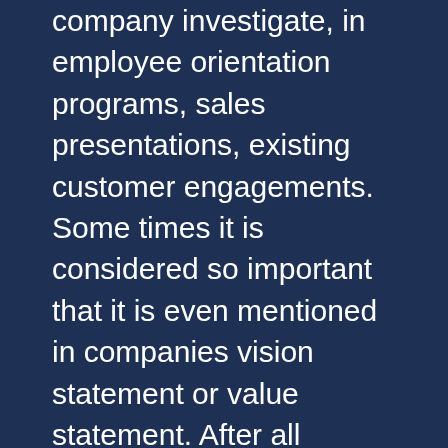company investigate, in employee orientation programs, sales presentations, existing customer engagements. Some times it is considered so important that it is even mentioned in companies vision statement or value statement. After all customer is the business and the reason why service company exists. Sure, it is not a perfect statement in an absolute sense, but the main message to me is that be aligned with customer and be careful to the requirements. I do not know about other industries, but Information Technology (IT) companies providing services seems to have different understanding of customer interaction. My simple understanding is that if I am providing services, then I need to listen and understand the customer and his needs. If I have the capability to deliver, then I need to tailor them as per customer